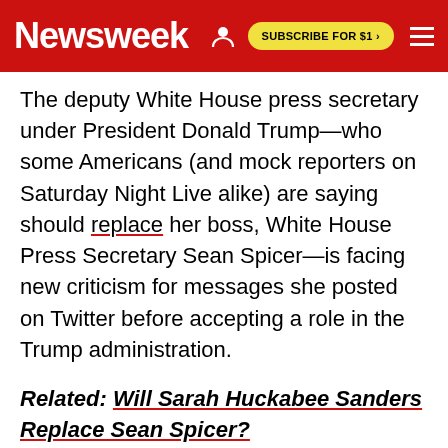Newsweek | SUBSCRIBE FOR $1 >
The deputy White House press secretary under President Donald Trump—who some Americans (and mock reporters on Saturday Night Live alike) are saying should replace her boss, White House Press Secretary Sean Spicer—is facing new criticism for messages she posted on Twitter before accepting a role in the Trump administration.
Related: Will Sarah Huckabee Sanders Replace Sean Spicer?